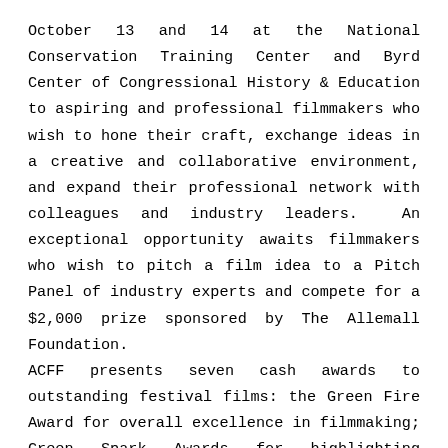October 13 and 14 at the National Conservation Training Center and Byrd Center of Congressional History & Education to aspiring and professional filmmakers who wish to hone their craft, exchange ideas in a creative and collaborative environment, and expand their professional network with colleagues and industry leaders.  An exceptional opportunity awaits filmmakers who wish to pitch a film idea to a Pitch Panel of industry experts and compete for a $2,000 prize sponsored by The Allemall Foundation. ACFF presents seven cash awards to outstanding festival films: the Green Fire Award for overall excellence in filmmaking; Green Spark Awards for highlighting sustainability, a conservation hero, and inspiring the next generation; International Film Award; Short Film Award; the Student Filmmaker Award, a $500 cash prize awarded to an emerging student filmmaker sponsored by The Friends of NCTC; and the